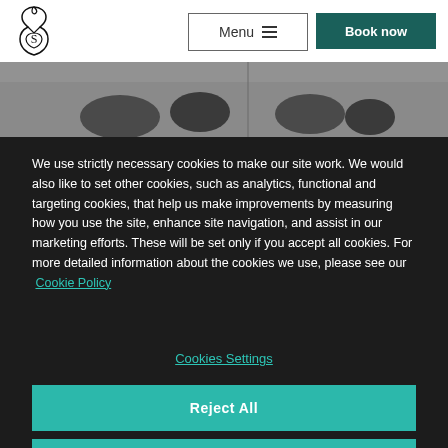[Figure (logo): Decorative seahorse/snake logo mark in black outline]
Menu
Book now
[Figure (photo): Grayscale photo strip showing dark silhouetted figures or animals]
We use strictly necessary cookies to make our site work. We would also like to set other cookies, such as analytics, functional and targeting cookies, that help us make improvements by measuring how you use the site, enhance site navigation, and assist in our marketing efforts. These will be set only if you accept all cookies. For more detailed information about the cookies we use, please see our Cookie Policy
Cookies Settings
Reject All
Accept All Cookies